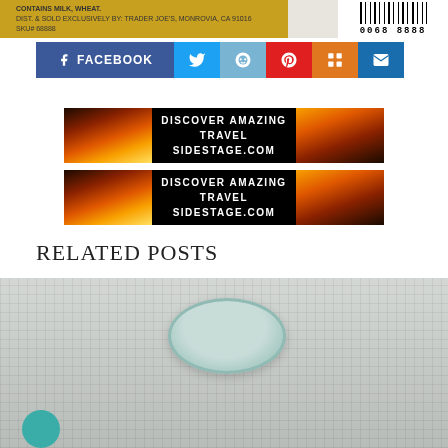[Figure (photo): Top portion of a product label - Trader Joe's product with barcode 0068 8888, yellow packaging with text 'CONTAINS MILK, WHEAT. DIST. & SOLD EXCLUSIVELY BY: TRADER JOE'S, MONROVIA, CA 91016']
[Figure (infographic): Social sharing buttons row: Facebook (blue), Twitter (blue bird), Reddit (light blue), Pinterest (red), Mix (orange), Email (dark blue)]
[Figure (infographic): Advertisement banner: DISCOVER AMAZING TRAVEL SIDESTAGE.COM with sunset/cliff images on sides]
[Figure (infographic): Second advertisement banner: DISCOVER AMAZING TRAVEL SIDESTAGE.COM with sunset/cliff images on sides]
RELATED POSTS
[Figure (photo): Bottom photo showing a teal/ceramic bowl on a woven/grid surface, with a teal circular icon in bottom left corner]